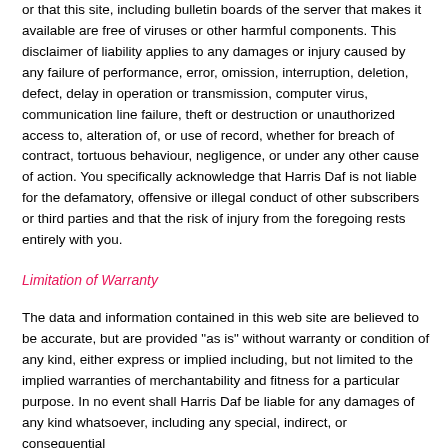or that this site, including bulletin boards of the server that makes it available are free of viruses or other harmful components. This disclaimer of liability applies to any damages or injury caused by any failure of performance, error, omission, interruption, deletion, defect, delay in operation or transmission, computer virus, communication line failure, theft or destruction or unauthorized access to, alteration of, or use of record, whether for breach of contract, tortuous behaviour, negligence, or under any other cause of action. You specifically acknowledge that Harris Daf is not liable for the defamatory, offensive or illegal conduct of other subscribers or third parties and that the risk of injury from the foregoing rests entirely with you.
Limitation of Warranty
The data and information contained in this web site are believed to be accurate, but are provided "as is" without warranty or condition of any kind, either express or implied including, but not limited to the implied warranties of merchantability and fitness for a particular purpose. In no event shall Harris Daf be liable for any damages of any kind whatsoever, including any special, indirect, or consequential